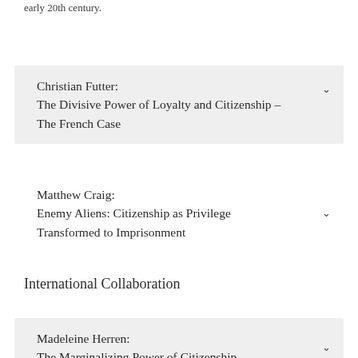early 20th century.
Christian Futter: The Divisive Power of Loyalty and Citizenship – The French Case
Matthew Craig: Enemy Aliens: Citizenship as Privilege Transformed to Imprisonment
International Collaboration
Madeleine Herren: The Marginalizing Power of Citizenship